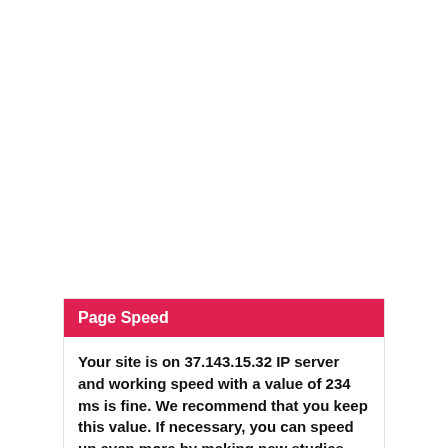Page Speed
Your site is on 37.143.15.32 IP server and working speed with a value of 234 ms is fine. We recommend that you keep this value. If necessary, you can speed up even more by making new studies.